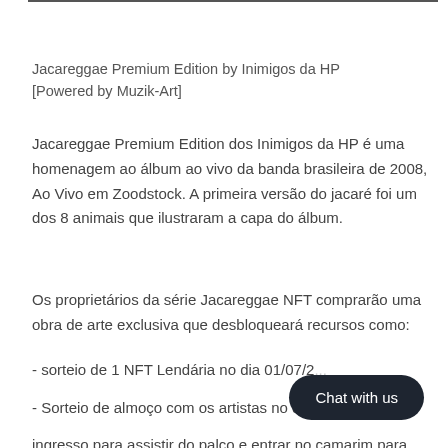Jacareggae Premium Edition by Inimigos da HP
[Powered by Muzik-Art]
Jacareggae Premium Edition dos Inimigos da HP é uma homenagem ao álbum ao vivo da banda brasileira de 2008, Ao Vivo em Zoodstock. A primeira versão do jacaré foi um dos 8 animais que ilustraram a capa do álbum.
Os proprietários da série Jacareggae NFT comprarão uma obra de arte exclusiva que desbloqueará recursos como:
- sorteio de 1 NFT Lendária no dia 01/07/2...
- Sorteio de almoço com os artistas no d... ingresso para assistir do palco e entrar no camarim para
[Figure (other): Chat with us button overlay]